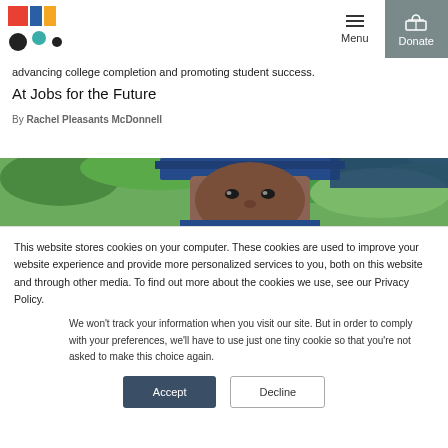Jobs for the Future — Menu | Donate
Persistence and completion are major topics in the community college world these days. The upcoming AACR Annual Convention, for example, has numerous sessions dedicated to advancing college completion and promoting student success.
At Jobs for the Future
By Rachel Pleasants McDonnell
[Figure (photo): Close-up photo of a young Black male student in a blue graduation cap and gown, with greenery in the background.]
This website stores cookies on your computer. These cookies are used to improve your website experience and provide more personalized services to you, both on this website and through other media. To find out more about the cookies we use, see our Privacy Policy.
We won't track your information when you visit our site. But in order to comply with your preferences, we'll have to use just one tiny cookie so that you're not asked to make this choice again.